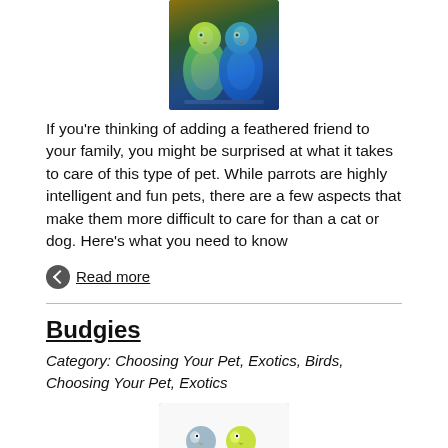[Figure (photo): Two parrots perched together, one yellow-green and one blue, against a dark background]
If you're thinking of adding a feathered friend to your family, you might be surprised at what it takes to care of this type of pet. While parrots are highly intelligent and fun pets, there are a few aspects that make them more difficult to care for than a cat or dog. Here's what you need to know
Read more
Budgies
Category: Choosing Your Pet, Exotics, Birds, Choosing Your Pet, Exotics
[Figure (photo): Two budgies (parakeets) perched on a branch, one blue-grey and one yellow-green]